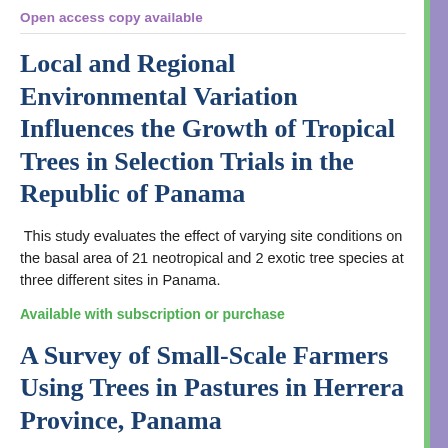Open access copy available
Local and Regional Environmental Variation Influences the Growth of Tropical Trees in Selection Trials in the Republic of Panama
This study evaluates the effect of varying site conditions on the basal area of 21 neotropical and 2 exotic tree species at three different sites in Panama.
Available with subscription or purchase
A Survey of Small-Scale Farmers Using Trees in Pastures in Herrera Province, Panama
The Herrera Province on the Azuero Peninsula of